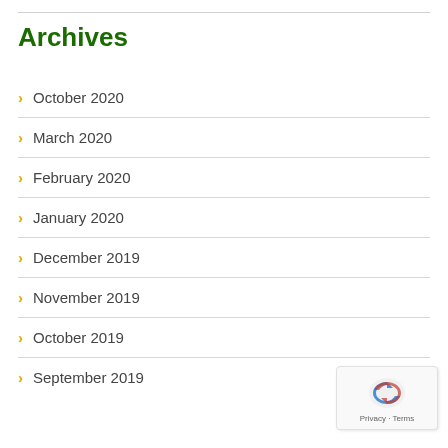Archives
October 2020
March 2020
February 2020
January 2020
December 2019
November 2019
October 2019
September 2019